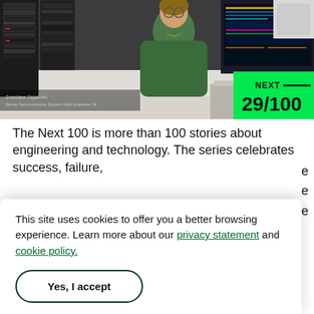[Figure (photo): Photo of Zvezdana Stojakovic, Senior Semiconductor System R&D Engineer at NI, standing in a lab/server room wearing a green top with arms crossed. Green 'NEXT 29/100' badge overlaid in bottom-right corner.]
Zvezdana Stojakovic
Senior Semiconductor System R&D Engineer, NI
The Next 100 is more than 100 stories about engineering and technology. The series celebrates success, failure,
This site uses cookies to offer you a better browsing experience. Learn more about our privacy statement and cookie policy.